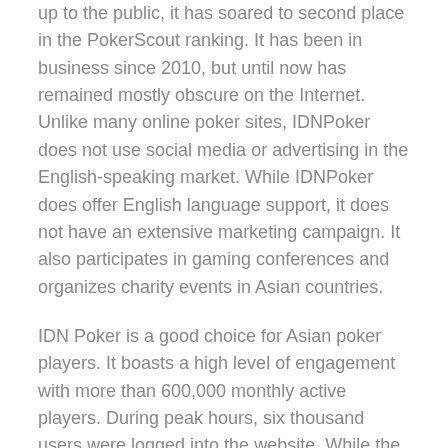up to the public, it has soared to second place in the PokerScout ranking. It has been in business since 2010, but until now has remained mostly obscure on the Internet. Unlike many online poker sites, IDNPoker does not use social media or advertising in the English-speaking market. While IDNPoker does offer English language support, it does not have an extensive marketing campaign. It also participates in gaming conferences and organizes charity events in Asian countries.
IDN Poker is a good choice for Asian poker players. It boasts a high level of engagement with more than 600,000 monthly active players. During peak hours, six thousand users were logged into the website. While the number of players isn't as high as 888poker, IDN Poker has undisputed dominance of the Asian market. The site offers an online poker room, sportsbook, and casino games. Its renowned reputation has attracted many players from across Asia.
Regardless of where you play, you'll need to know the rules of the game. Unlike online poker, table stakes poker rules have a